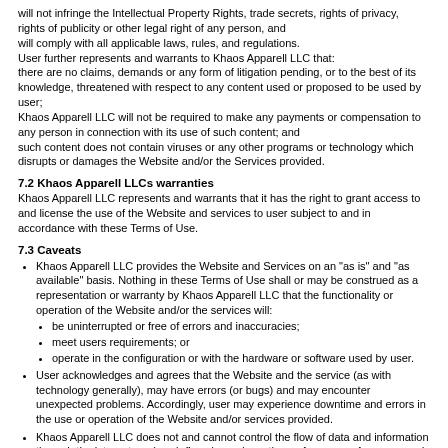will not infringe the Intellectual Property Rights, trade secrets, rights of privacy, rights of publicity or other legal right of any person, and will comply with all applicable laws, rules, and regulations. User further represents and warrants to Khaos Apparell LLC that: there are no claims, demands or any form of litigation pending, or to the best of its knowledge, threatened with respect to any content used or proposed to be used by user; Khaos Apparell LLC will not be required to make any payments or compensation to any person in connection with its use of such content; and such content does not contain viruses or any other programs or technology which disrupts or damages the Website and/or the Services provided.
7.2 Khaos Apparell LLCs warranties
Khaos Apparell LLC represents and warrants that it has the right to grant access to and license the use of the Website and services to user subject to and in accordance with these Terms of Use.
7.3 Caveats
Khaos Apparell LLC provides the Website and Services on an "as is" and "as available" basis. Nothing in these Terms of Use shall or may be construed as a representation or warranty by Khaos Apparell LLC that the functionality or operation of the Website and/or the services will:
be uninterrupted or free of errors and inaccuracies;
meet users requirements; or
operate in the configuration or with the hardware or software used by user.
User acknowledges and agrees that the Website and the service (as with technology generally), may have errors (or bugs) and may encounter unexpected problems. Accordingly, user may experience downtime and errors in the use or operation of the Website and/or services provided.
Khaos Apparell LLC does not and cannot control the flow of data and information through the internet, and such flow depends on the performance of persons and entities whose actions or inactions may produce situations in which connections to the internet (or portions thereof) are impaired or disrupted and for which Khaos Apparell LLC is not liable.
Khaos Apparell LLC does not guarantee that any information on the...